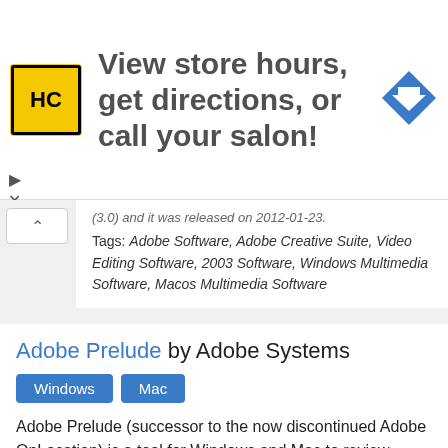[Figure (infographic): Advertisement banner with HC logo (yellow background, black border), text 'View store hours, get directions, or call your salon!', and a blue diamond navigation arrow icon on the right.]
(3.0) and it was released on 2012-01-23.
Tags: Adobe Software, Adobe Creative Suite, Video Editing Software, 2003 Software, Windows Multimedia Software, Macos Multimedia Software
Adobe Prelude by Adobe Systems
Windows Mac
Adobe Prelude (successor to the now discontinued Adobe OnLocation) is a tool for Windows and Mac to review, import, log, select, and export tapeless media. The software also offers features like...
Tags: Adobe Creative Suite, Windows Multimedia Software, Macos Multimedia Software,